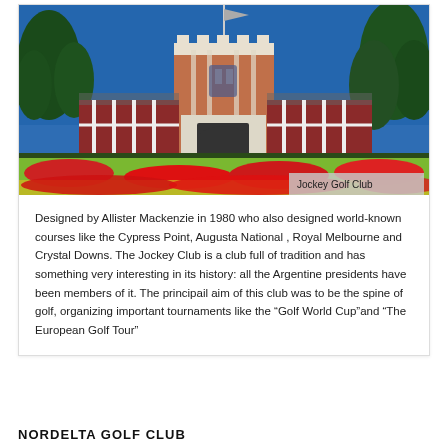[Figure (photo): Exterior photo of Jockey Golf Club building — a red-brick Tudor/Gothic style clubhouse with white stone crenellations, arched entrance, red and white timber-framed wings, blue sky, green trees, and colorful flower garden in the foreground. Caption overlay reads 'Jockey Golf Club'.]
Designed by Allister Mackenzie in 1980 who also designed world-known courses like the Cypress Point, Augusta National , Royal Melbourne and Crystal Downs. The Jockey Club is a club full of tradition and has something very interesting in its history: all the Argentine presidents have been members of it. The principail aim of this club was to be the spine of golf, organizing important tournaments like the "Golf World Cup"and "The European Golf Tour"
NORDELTA GOLF CLUB